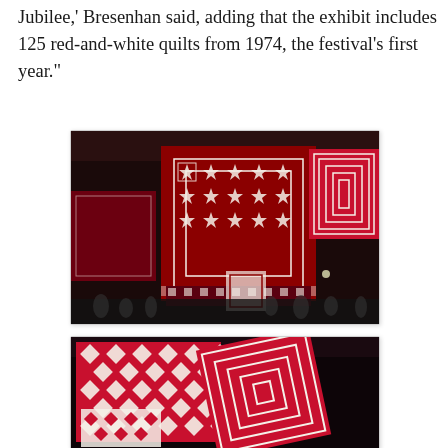Jubilee,' Bresenhan said, adding that the exhibit includes 125 red-and-white quilts from 1974, the festival's first year."
[Figure (photo): Photograph of multiple red-and-white quilts hanging from the ceiling at an exhibition hall, showing various geometric patterns including stars and diagonal grid designs, in a large darkened venue.]
[Figure (photo): Photograph of red-and-white quilts hanging at an exhibition, showing geometric diamond and square patterns against a dark background, with quilts at various angles.]